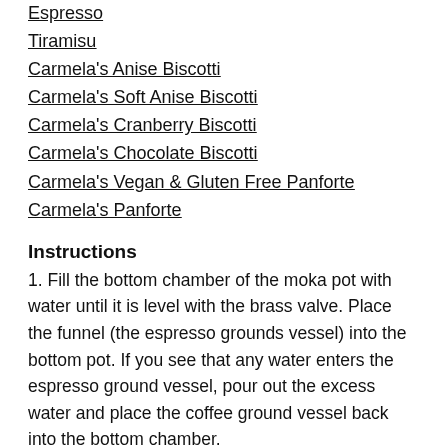Espresso
Tiramisu
Carmela's Anise Biscotti
Carmela's Soft Anise Biscotti
Carmela's Cranberry Biscotti
Carmela's Chocolate Biscotti
Carmela's Vegan & Gluten Free Panforte
Carmela's Panforte
Instructions
1. Fill the bottom chamber of the moka pot with water until it is level with the brass valve. Place the funnel (the espresso grounds vessel) into the bottom pot. If you see that any water enters the espresso ground vessel, pour out the excess water and place the coffee ground vessel back into the bottom chamber.
2. Fill the funnel with the espresso grounds, level the grounds (do not pack grounds) and wipe the funnel's rim clean of any excess grounds.